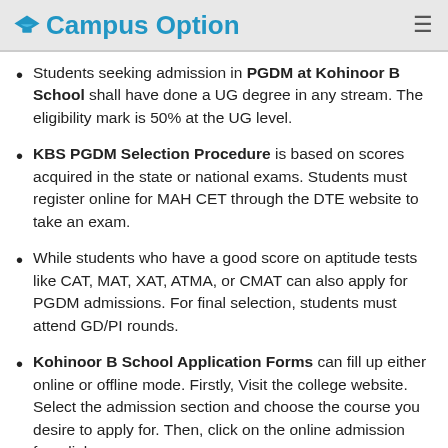Campus Option
Students seeking admission in PGDM at Kohinoor B School shall have done a UG degree in any stream. The eligibility mark is 50% at the UG level.
KBS PGDM Selection Procedure is based on scores acquired in the state or national exams. Students must register online for MAH CET through the DTE website to take an exam.
While students who have a good score on aptitude tests like CAT, MAT, XAT, ATMA, or CMAT can also apply for PGDM admissions. For final selection, students must attend GD/PI rounds.
Kohinoor B School Application Forms can fill up either online or offline mode. Firstly, Visit the college website. Select the admission section and choose the course you desire to apply for. Then, click on the online admission form link.